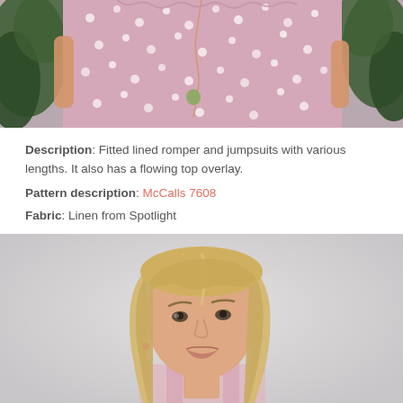[Figure (photo): Close-up photo of a woman's torso wearing a pink polka-dot fitted top/romper with a rose gold chain necklace with a green pendant, green foliage in background.]
Description: Fitted lined romper and jumpsuits with various lengths. It also has a flowing top overlay.
Pattern description: McCalls 7608
Fabric: Linen from Spotlight
[Figure (photo): Photo of a blonde woman wearing a pink outfit, looking slightly to the side, against a light grey background.]